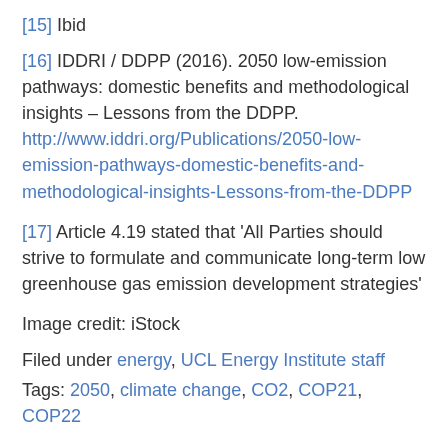[15] Ibid
[16] IDDRI / DDPP (2016). 2050 low-emission pathways: domestic benefits and methodological insights – Lessons from the DDPP. http://www.iddri.org/Publications/2050-low-emission-pathways-domestic-benefits-and-methodological-insights-Lessons-from-the-DDPP
[17] Article 4.19 stated that 'All Parties should strive to formulate and communicate long-term low greenhouse gas emission development strategies'
Image credit: iStock
Filed under energy, UCL Energy Institute staff
Tags: 2050, climate change, CO2, COP21, COP22